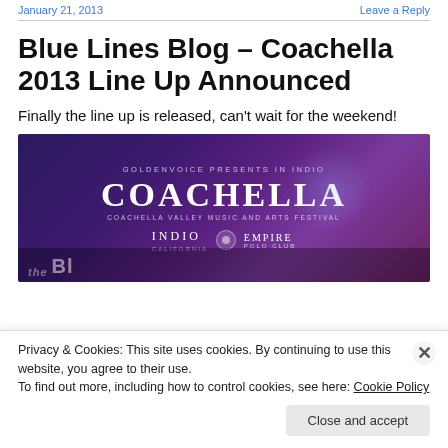January 21, 2013   Leave a Reply
Blue Lines Blog – Coachella 2013 Line Up Announced
Finally the line up is released, can't wait for the weekend!
[Figure (photo): Coachella 2013 festival banner showing 'GOLDENVOICE PRESENTS IN INDIO', 'COACHELLA', 'COACHELLA VALLEY MUSIC AND ARTS FESTIVAL', 'INDIO CALIFORNIA EMPIRE POLO CLUB' on a purple/dark background with partial text visible at bottom]
Privacy & Cookies: This site uses cookies. By continuing to use this website, you agree to their use.
To find out more, including how to control cookies, see here: Cookie Policy